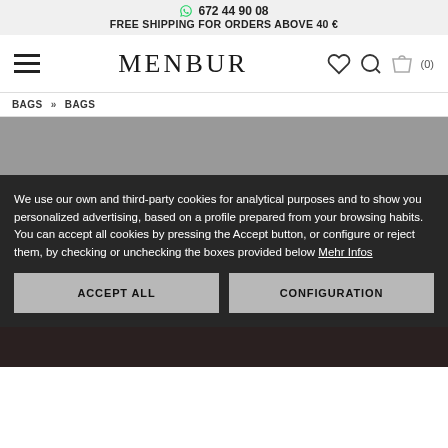672 44 90 08
FREE SHIPPING FOR ORDERS ABOVE 40 €
MENBUR
BAGS » BAGS
[Figure (photo): Gray placeholder product image area for a bag, with a dark leather bag partially visible at the bottom]
We use our own and third-party cookies for analytical purposes and to show you personalized advertising, based on a profile prepared from your browsing habits. You can accept all cookies by pressing the Accept button, or configure or reject them, by checking or unchecking the boxes provided below Mehr Infos
ACCEPT ALL
CONFIGURATION